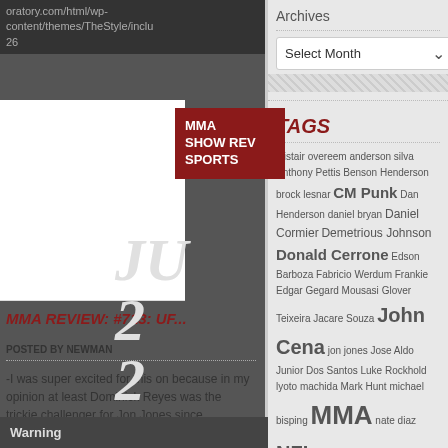oratory.com/html/wp-content/themes/TheStyle/inclu 26
[Figure (screenshot): Blog post card with MMA label overlay showing red background with white text MMA SHOW REV SPORTS]
MMA REVIEW: #713: UF...
POSTED BY NEWMAN
-I was super excited for this on because in my opinion at least Dominick Reyes was the trickie challenger for Jon Jones since
Archives
Select Month
TAGS
alistair overeem anderson silva Anthony Pettis Benson Henderson brock lesnar CM Punk Dan Henderson daniel bryan Daniel Cormier Demetrious Johnson Donald Cerrone Edson Barboza Fabricio Werdum Frankie Edgar Gegard Mousasi Glover Teixeira Jacare Souza John Cena jon jones Jose Aldo Junior Dos Santos Luke Rockhold lyoto machida Mark Hunt michael bisping MMA nate diaz NFL
Warning